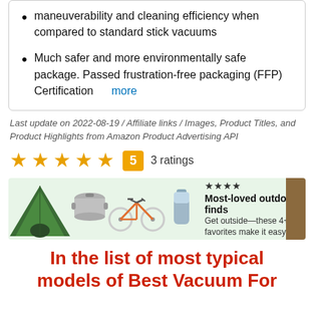maneuverability and cleaning efficiency when compared to standard stick vacuums
Much safer and more environmentally safe package. Passed frustration-free packaging (FFP) Certification  more
Last update on 2022-08-19 / Affiliate links / Images, Product Titles, and Product Highlights from Amazon Product Advertising API
[Figure (infographic): 5 gold stars rating with badge showing '5' and text '3 ratings']
[Figure (infographic): Advertisement banner with green background showing outdoor items (tent, pot, bike, water bottle) and text 'Most-loved outdoor finds - Get outside—these 4+ star favorites make it easy.']
In the list of most typical models of Best Vacuum For